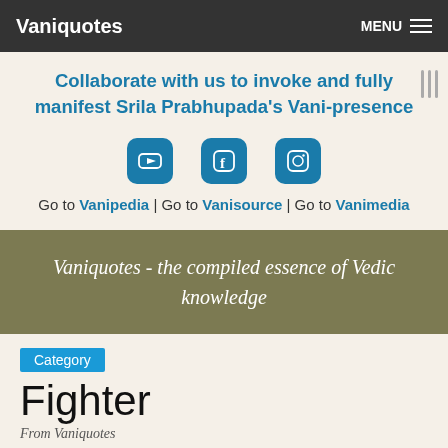Vaniquotes | MENU
Collaborate with us to invoke and fully manifest Srila Prabhupada's Vani-presence
[Figure (other): Social media icons: YouTube, Facebook, Instagram]
Go to Vanipedia | Go to Vanisource | Go to Vanimedia
Vaniquotes - the compiled essence of Vedic knowledge
Category
Fighter
From Vaniquotes